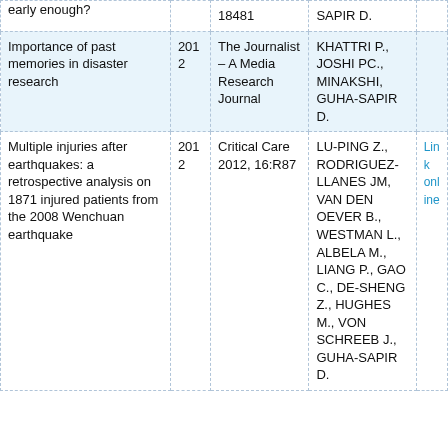| Title | Year | Journal | Authors | Link |
| --- | --- | --- | --- | --- |
| early enough? |  | 18481 | SAPIR D. |  |
| Importance of past memories in disaster research | 2012 | The Journalist – A Media Research Journal | KHATTRI P., JOSHI PC., MINAKSHI, GUHA-SAPIR D. |  |
| Multiple injuries after earthquakes: a retrospective analysis on 1871 injured patients from the 2008 Wenchuan earthquake | 2012 | Critical Care 2012, 16:R87 | LU-PING Z., RODRIGUEZ-LLANES JM, VAN DEN OEVER B., WESTMAN L., ALBELA M., LIANG P., GAO C., DE-SHENG Z., HUGHES M., VON SCHREEB J., GUHA-SAPIR D. | Link online |